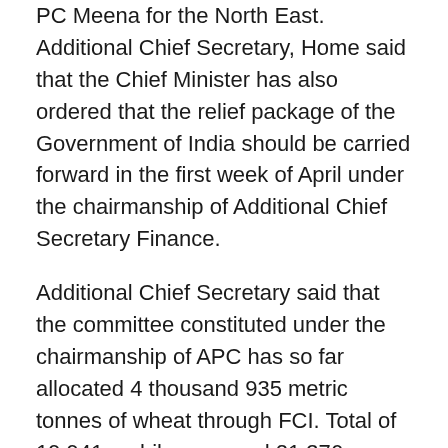PC Meena for the North East. Additional Chief Secretary, Home said that the Chief Minister has also ordered that the relief package of the Government of India should be carried forward in the first week of April under the chairmanship of Additional Chief Secretary Finance.
Additional Chief Secretary said that the committee constituted under the chairmanship of APC has so far allocated 4 thousand 935 metric tonnes of wheat through FCI. Total of 19,941 mobile vans and 21,376 handcarts have been arranged for the delivery of fruits and vegetables at door step. He said that 21 lakh 28 thousand litres of milk have been purchased through government dairies. Along with this, 17 lakh 13 thousand litres of milk has been distributed. Besides, 850 community kitchens have been opened to provide free food. The maximum price of essential commodities is being determined. It has also been implemented in many districts.